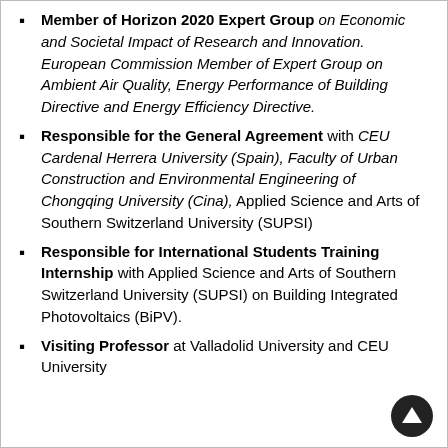Member of Horizon 2020 Expert Group on Economic and Societal Impact of Research and Innovation. European Commission Member of Expert Group on Ambient Air Quality, Energy Performance of Building Directive and Energy Efficiency Directive.
Responsible for the General Agreement with CEU Cardenal Herrera University (Spain), Faculty of Urban Construction and Environmental Engineering of Chongqing University (Cina), Applied Science and Arts of Southern Switzerland University (SUPSI)
Responsible for International Students Training Internship with Applied Science and Arts of Southern Switzerland University (SUPSI) on Building Integrated Photovoltaics (BiPV).
Visiting Professor at Valladolid University and CEU University